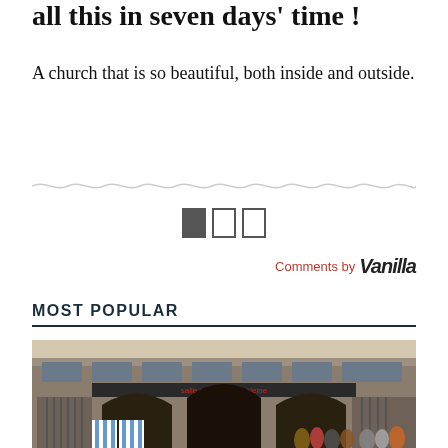all this in seven days' time !
A church that is so beautiful, both inside and outside.
Comments by Vanilla
MOST POPULAR
[Figure (photo): Exterior photograph of a Gothic church building (salle centrale madeleine) with arched entrances, stone facade, and people standing outside in sunlight.]